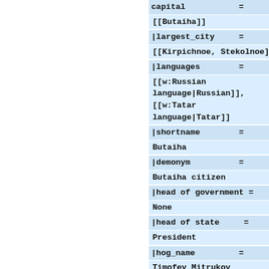|capital = [[Butaiha]]
|largest_city = [[Kirpichnoe, Stekolnoe]]
|languages = [[w:Russian language|Russian]], [[w:Tatar language|Tatar]]
|shortname = Butaiha
|demonym = Butaiha citizen
|head of government = None
|head of state = President
|hog_name = Timofey Mitrukov
|hos_name = None